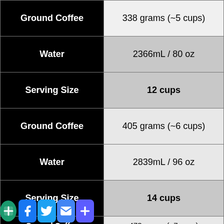|  |  |
| --- | --- |
| Ground Coffee | 338 grams (~5 cups) |
| Water | 2366mL / 80 oz |
| Serving Size | 12 cups |
| Ground Coffee | 405 grams (~6 cups) |
| Water | 2839mL / 96 oz |
| Serving Size | 14 cups |
| Ground Coffee | 473 grams (~7 cups) |